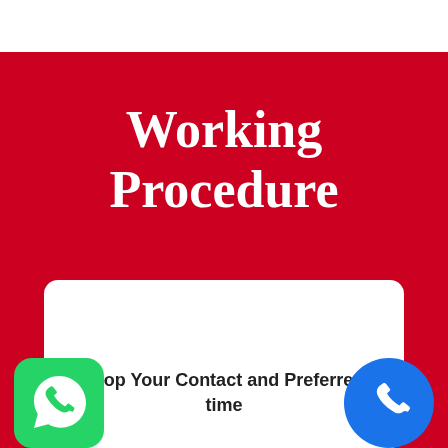Working Procedure
Drop Your Contact and Preferred time
[Figure (logo): WhatsApp green icon bottom left]
[Figure (logo): Phone blue circle icon bottom right]